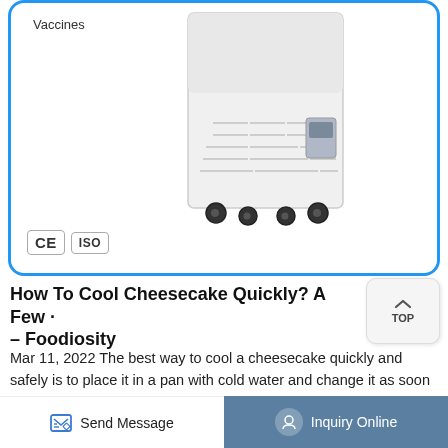[Figure (photo): White medical/laboratory freezer on wheels with ventilation grilles, control panel, CE and ISO certification badges, with 'Vaccines' label visible]
How To Cool Cheesecake Quickly? A Few - Foodiosity
Mar 11, 2022 The best way to cool a cheesecake quickly and safely is to place it in a pan with cold water and change it as soon as it gets warm. You can use the sink for this as well if it is big enough. I used to do this for pudding every time I needed it
Send Message  Inquiry Online